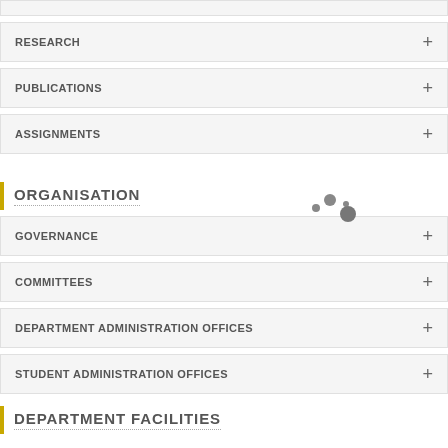RESEARCH
PUBLICATIONS
ASSIGNMENTS
ORGANISATION
GOVERNANCE
COMMITTEES
DEPARTMENT ADMINISTRATION OFFICES
STUDENT ADMINISTRATION OFFICES
DEPARTMENT FACILITIES